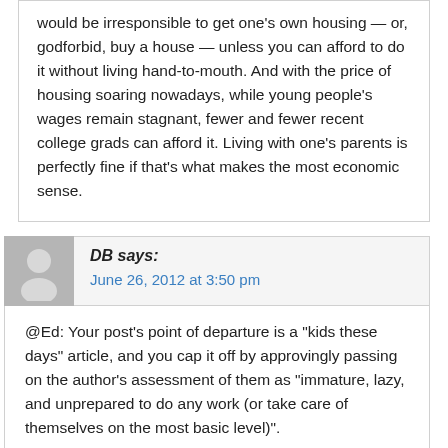would be irresponsible to get one's own housing — or, godforbid, buy a house — unless you can afford to do it without living hand-to-mouth. And with the price of housing soaring nowadays, while young people's wages remain stagnant, fewer and fewer recent college grads can afford it. Living with one's parents is perfectly fine if that's what makes the most economic sense.
DB says:
June 26, 2012 at 3:50 pm
@Ed: Your post's point of departure is a "kids these days" article, and you cap it off by approvingly passing on the author's assessment of them as "immature, lazy, and unprepared to do any work (or take care of themselves on the most basic level)".
@anotherbozo: Ed (implicitly, by way of